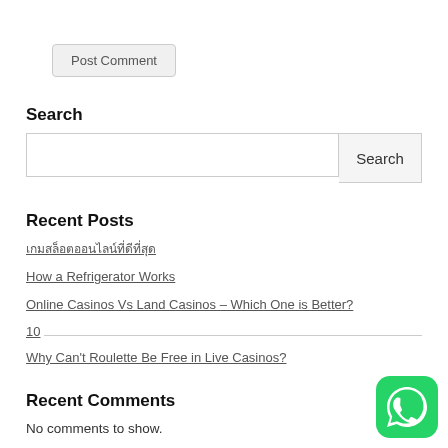Post Comment
Search
Search
Recent Posts
เกมสล็อตออนไลน์ที่ดีที่สุด
How a Refrigerator Works
Online Casinos Vs Land Casinos – Which One is Better?
10
Why Can't Roulette Be Free in Live Casinos?
Recent Comments
No comments to show.
[Figure (logo): WhatsApp icon — green rounded square with white phone handset inside a speech bubble]